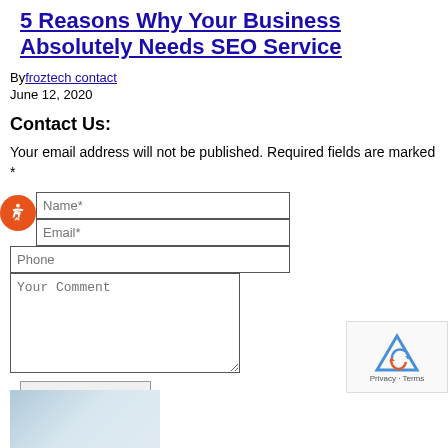5 Reasons Why Your Business Absolutely Needs SEO Service
By froztech contact
June 12, 2020
Contact Us:
Your email address will not be published. Required fields are marked *
[Figure (screenshot): Web contact form with fields: Name*, Email*, Phone, Your Comment textarea, and Post Comment button. Accessibility icon (orange circle with person figure) overlapping the form. reCAPTCHA widget in bottom right corner.]
[Figure (photo): Photo of person working on laptop, partial view at bottom of page.]